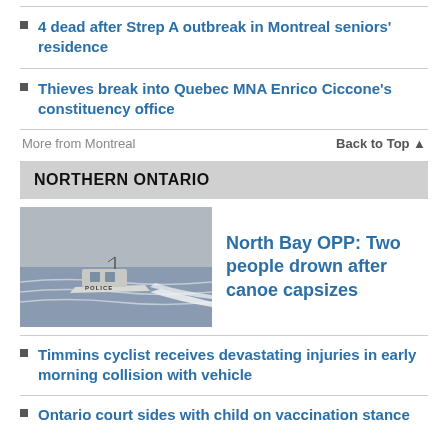4 dead after Strep A outbreak in Montreal seniors' residence
Thieves break into Quebec MNA Enrico Ciccone's constituency office
More from Montreal   Back to Top ▲
NORTHERN ONTARIO
[Figure (photo): A police boat speeding across water with a rooster tail of white wake behind it, marked POLICE on the hull.]
North Bay OPP: Two people drown after canoe capsizes
Timmins cyclist receives devastating injuries in early morning collision with vehicle
Ontario court sides with child on vaccination stance